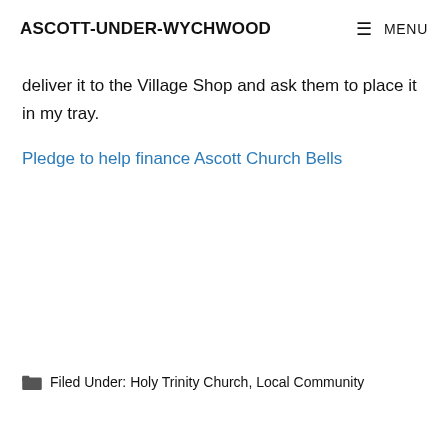ASCOTT-UNDER-WYCHWOOD   MENU
deliver it to the Village Shop and ask them to place it in my tray.
Pledge to help finance Ascott Church Bells
Filed Under: Holy Trinity Church, Local Community